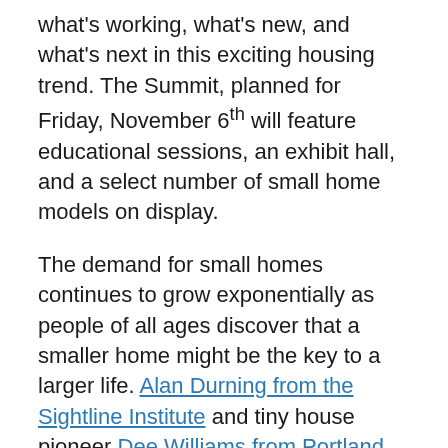what's working, what's new, and what's next in this exciting housing trend. The Summit, planned for Friday, November 6th will feature educational sessions, an exhibit hall, and a select number of small home models on display.
The demand for small homes continues to grow exponentially as people of all ages discover that a smaller home might be the key to a larger life. Alan Durning from the Sightline Institute and tiny house pioneer Dee Williams from Portland Alternative Dwellings will lead off the day with inspiring keynote speeches about the power that building small dwellings has to transform our communities, and how positive change really does begin at home.
Attendees will find information here that is truly nowhere else. Explore the range of options within the world of small